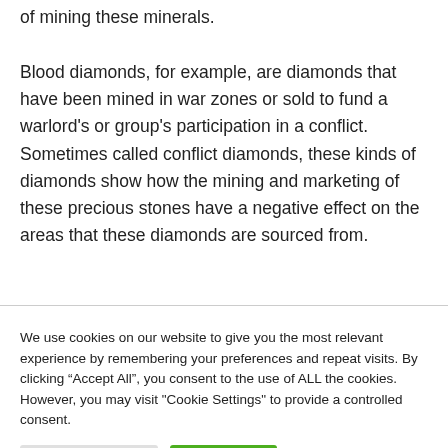of mining these minerals.
Blood diamonds, for example, are diamonds that have been mined in war zones or sold to fund a warlord’s or group’s participation in a conflict. Sometimes called conflict diamonds, these kinds of diamonds show how the mining and marketing of these precious stones have a negative effect on the areas that these diamonds are sourced from.
We use cookies on our website to give you the most relevant experience by remembering your preferences and repeat visits. By clicking “Accept All”, you consent to the use of ALL the cookies. However, you may visit "Cookie Settings" to provide a controlled consent.